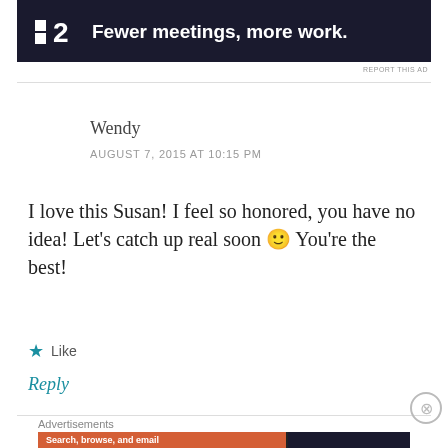[Figure (screenshot): Dark advertisement banner with logo showing two squares and '2', with text 'Fewer meetings, more work.']
REPORT THIS AD
Wendy
AUGUST 7, 2015 AT 10:15 PM
I love this Susan! I feel so honored, you have no idea! Let’s catch up real soon 🙂 You’re the best!
★ Like
Reply
Advertisements
[Figure (screenshot): DuckDuckGo advertisement banner: 'Search, browse, and email with more privacy. All in One Free App' with DuckDuckGo duck logo on dark background.]